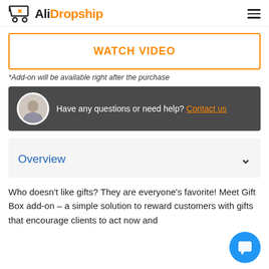AliDropship
[Figure (other): WATCH VIDEO button with orange border]
*Add-on will be available right after the purchase
Have any questions or need help? Contact us
Overview
Who doesn't like gifts? They are everyone's favorite! Meet Gift Box add-on – a simple solution to reward customers with gifts that encourage clients to act now and